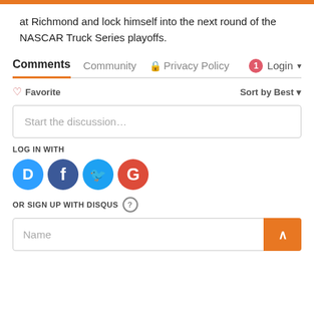at Richmond and lock himself into the next round of the NASCAR Truck Series playoffs.
Comments  Community  Privacy Policy  Login
♡ Favorite  Sort by Best
Start the discussion…
LOG IN WITH
[Figure (infographic): Social login icons: Disqus (blue), Facebook (dark blue), Twitter (light blue), Google (red)]
OR SIGN UP WITH DISQUS ?
Name